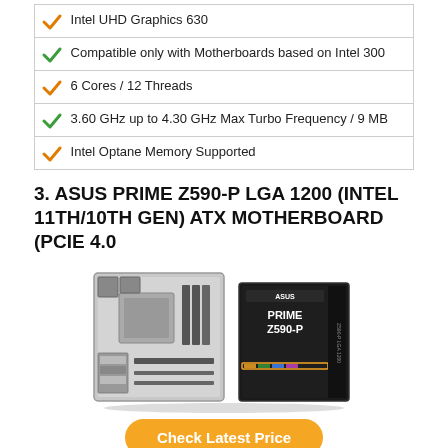Intel UHD Graphics 630
Compatible only with Motherboards based on Intel 300
6 Cores / 12 Threads
3.60 GHz up to 4.30 GHz Max Turbo Frequency / 9 MB
Intel Optane Memory Supported
3. ASUS PRIME Z590-P LGA 1200 (INTEL 11TH/10TH GEN) ATX MOTHERBOARD (PCIE 4.0
[Figure (photo): Product photo of ASUS PRIME Z590-P motherboard alongside its retail box]
Check Latest Price